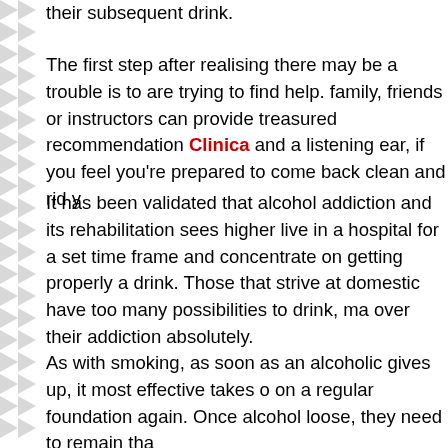their subsequent drink.
The first step after realising there may be a trouble is to are trying to find help. family, friends or instructors can provide treasured recommendation Clinica and a listening ear, if you feel you're prepared to come back clean and rid y
It has been validated that alcohol addiction and its rehabilitation sees highe live in a hospital for a set time frame and concentrate on getting properly a drink. Those that strive at domestic have too many possibilities to drink, ma over their addiction absolutely.
As with smoking, as soon as an alcoholic gives up, it most effective takes o on a regular foundation again. Once alcohol loose, they need to remain tha
It's very important as an alcoholic to realize you are not alone and there ar which can be going thru what you are going through, or have already gone triumphant on the alternative facet.
In order to gain consequences and forestall ingesting absolutely, you need based environment where you may deal with getting well and overcoming t each day basis.
In maximum cases in order for treatment to paintings, a patient will need to weeks or longer. Each patient is different, which means that professionals n